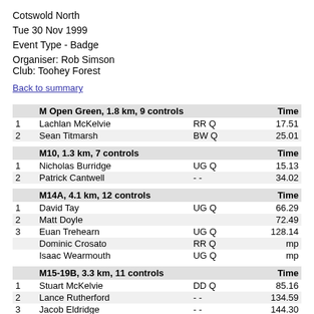Cotswold North
Tue 30 Nov 1999
Event Type - Badge
Organiser: Rob Simson
Club: Toohey Forest
Back to summary
|  | M Open Green, 1.8 km, 9 controls |  | Time |
| --- | --- | --- | --- |
| 1 | Lachlan McKelvie | RR Q | 17.51 |
| 2 | Sean Titmarsh | BW Q | 25.01 |
|  | M10, 1.3 km, 7 controls |  | Time |
| --- | --- | --- | --- |
| 1 | Nicholas Burridge | UG Q | 15.13 |
| 2 | Patrick Cantwell | - - | 34.02 |
|  | M14A, 4.1 km, 12 controls |  | Time |
| --- | --- | --- | --- |
| 1 | David Tay | UG Q | 66.29 |
| 2 | Matt Doyle |  | 72.49 |
| 3 | Euan Trehearn | UG Q | 128.14 |
|  | Dominic Crosato | RR Q | mp |
|  | Isaac Wearmouth | UG Q | mp |
|  | M15-19B, 3.3 km, 11 controls |  | Time |
| --- | --- | --- | --- |
| 1 | Stuart McKelvie | DD Q | 85.16 |
| 2 | Lance Rutherford | - - | 134.59 |
| 3 | Jacob Eldridge | - - | 144.30 |
|  | Jamie McDonald | TGS | mp |